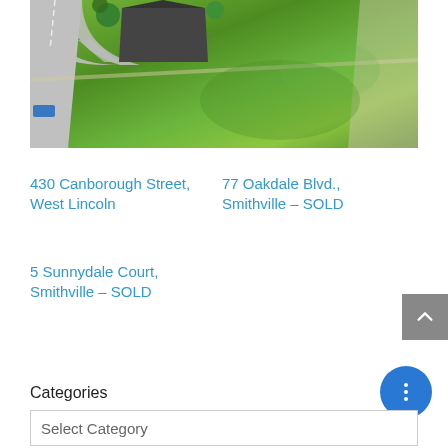[Figure (photo): Aerial drone photo of a residential property showing a house with dark roof, curved driveway, road, and large green lawn/field.]
430 Canborough Street, West Lincoln
77 Oakdale Blvd., Smithville – SOLD
5 Sunnydale Court, Smithville – SOLD
Categories
Select Category